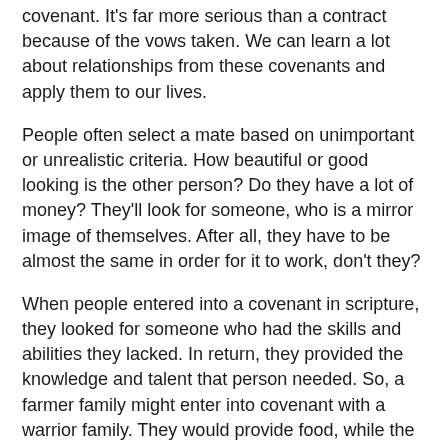covenant. It's far more serious than a contract because of the vows taken. We can learn a lot about relationships from these covenants and apply them to our lives.
People often select a mate based on unimportant or unrealistic criteria. How beautiful or good looking is the other person? Do they have a lot of money? They'll look for someone, who is a mirror image of themselves. After all, they have to be almost the same in order for it to work, don't they?
When people entered into a covenant in scripture, they looked for someone who had the skills and abilities they lacked. In return, they provided the knowledge and talent that person needed. So, a farmer family might enter into covenant with a warrior family. They would provide food, while the other family would protect them.
Selecting critique partners can be done with or without thoughtful consideration. I have three people that I trust with my story babies and heart: